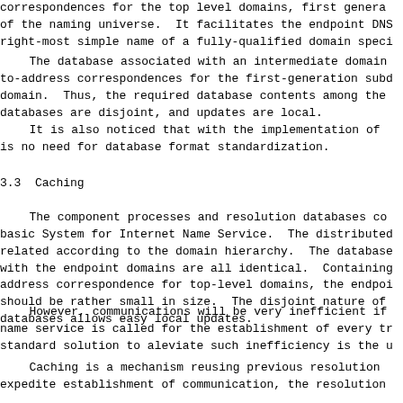correspondences for the top level domains, first genera of the naming universe.  It facilitates the endpoint DNS right-most simple name of a fully-qualified domain speci
The database associated with an intermediate domain to-address correspondences for the first-generation subd domain.  Thus, the required database contents among the databases are disjoint, and updates are local.
It is also noticed that with the implementation of is no need for database format standardization.
3.3  Caching
The component processes and resolution databases co basic System for Internet Name Service.  The distributed related according to the domain hierarchy.  The database with the endpoint domains are all identical.  Containing address correspondence for top-level domains, the endpoi should be rather small in size.  The disjoint nature of databases allows easy local updates.
However, communications will be very inefficient if name service is called for the establishment of every tr standard solution to aleviate such inefficiency is the u
Caching is a mechanism reusing previous resolution expedite establishment of communication, the resolution